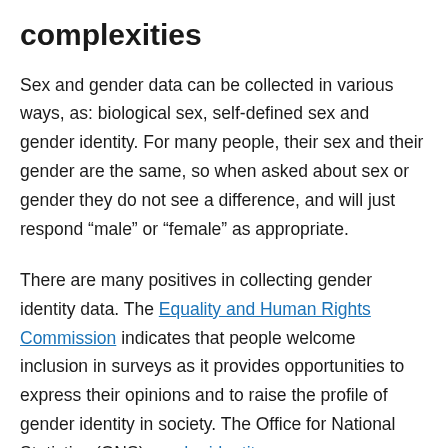complexities
Sex and gender data can be collected in various ways, as: biological sex, self-defined sex and gender identity. For many people, their sex and their gender are the same, so when asked about sex or gender they do not see a difference, and will just respond “male” or “female” as appropriate.
There are many positives in collecting gender identity data. The Equality and Human Rights Commission indicates that people welcome inclusion in surveys as it provides opportunities to express their opinions and to raise the profile of gender identity in society. The Office for National Statistics (ONS) gender identity